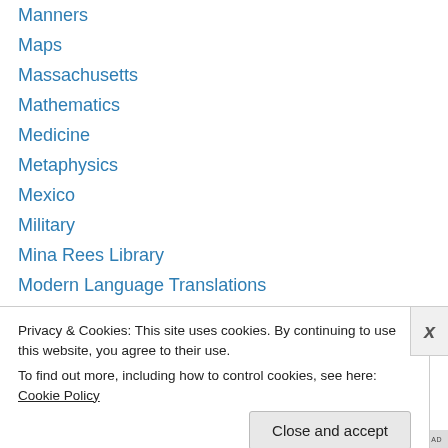Manners
Maps
Massachusetts
Mathematics
Medicine
Metaphysics
Mexico
Military
Mina Rees Library
Modern Language Translations
Music
Natural Science
Netherlands
Neutral Rights
Privacy & Cookies: This site uses cookies. By continuing to use this website, you agree to their use.
To find out more, including how to control cookies, see here: Cookie Policy
Close and accept